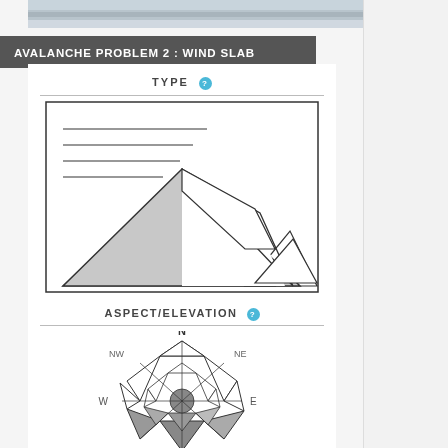[Figure (photo): Partial view of a snowy mountain/avalanche terrain photo at top of page]
AVALANCHE PROBLEM 2: WIND SLAB
TYPE ?
[Figure (illustration): Wind slab avalanche type diagram showing a mountain cross-section with layered snow lines on the upper slope and a slab highlighted on the right face, with gray shading on the lower portion]
ASPECT/ELEVATION ?
[Figure (other): Compass rose / aspect-elevation rose diagram showing N, NW, NE, W, E directions with gray shading indicating affected aspects]